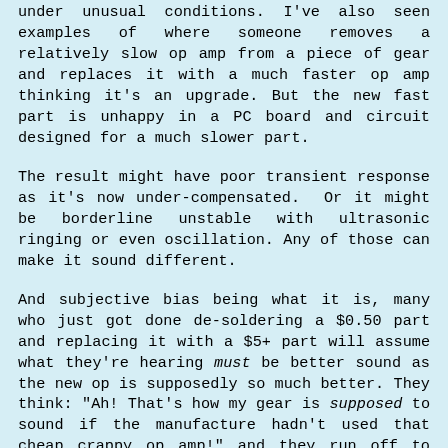under unusual conditions. I've also seen examples of where someone removes a relatively slow op amp from a piece of gear and replaces it with a much faster op amp thinking it's an upgrade. But the new fast part is unhappy in a PC board and circuit designed for a much slower part.
The result might have poor transient response as it's now under-compensated. Or it might be borderline unstable with ultrasonic ringing or even oscillation. Any of those can make it sound different.
And subjective bias being what it is, many who just got done de-soldering a $0.50 part and replacing it with a $5+ part will assume what they're hearing must be better sound as the new op is supposedly so much better. They think: "Ah! That's how my gear is supposed to sound if the manufacture hadn't used that cheap crappy op amp!" and they run off to their PC and give the swap a rave review on Head-Fi assuring others propagate the myth and degrade their gear in the same way.
That's what happens when people who don't fully understand the engineering start messing with parts that